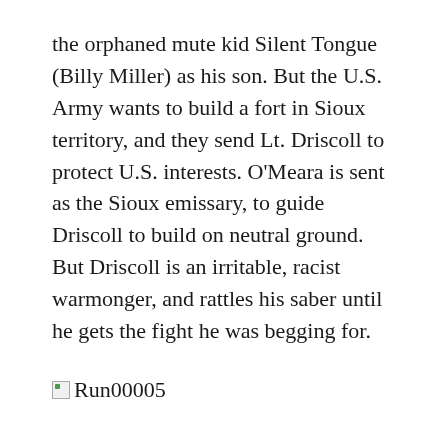the orphaned mute kid Silent Tongue (Billy Miller) as his son. But the U.S. Army wants to build a fort in Sioux territory, and they send Lt. Driscoll to protect U.S. interests. O'Meara is sent as the Sioux emissary, to guide Driscoll to build on neutral ground. But Driscoll is an irritable, racist warmonger, and rattles his saber until he gets the fight he was begging for.
[Figure (other): Broken image placeholder labeled Run00005]